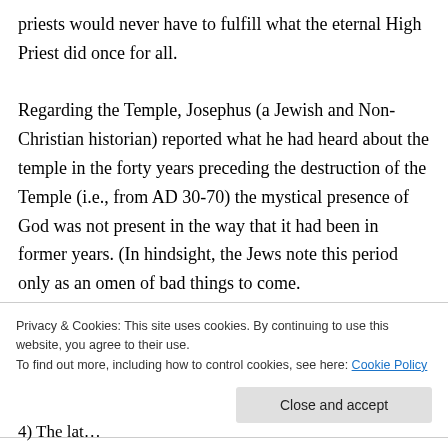priests would never have to fulfill what the eternal High Priest did once for all.

Regarding the Temple, Josephus (a Jewish and Non-Christian historian) reported what he had heard about the temple in the forty years preceding the destruction of the Temple (i.e., from AD 30-70) the mystical presence of God was not present in the way that it had been in former years. (In hindsight, the Jews note this period only as an omen of bad things to come.
Privacy & Cookies: This site uses cookies. By continuing to use this website, you agree to their use.
To find out more, including how to control cookies, see here: Cookie Policy
Close and accept
4) The lat...